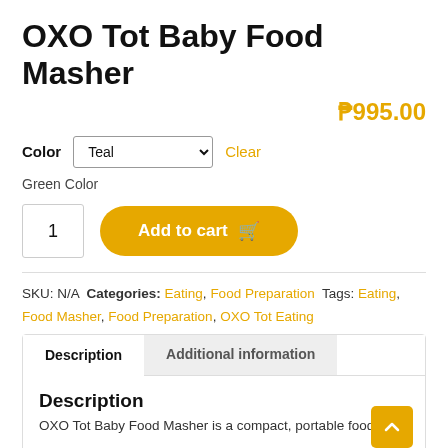OXO Tot Baby Food Masher
₱995.00
Color: Teal | Clear
Green Color
1 | Add to cart
SKU: N/A Categories: Eating, Food Preparation Tags: Eating, Food Masher, Food Preparation, OXO Tot Eating
Description | Additional information
Description
OXO Tot Baby Food Masher is a compact, portable food